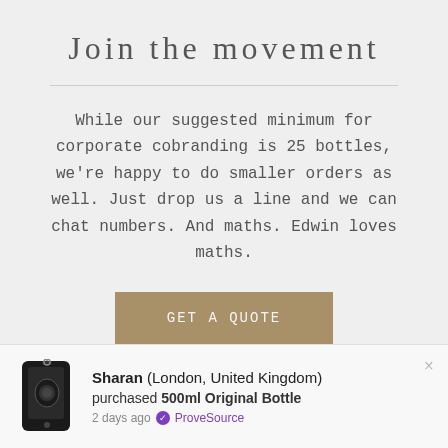Join the movement
While our suggested minimum for corporate cobranding is 25 bottles, we're happy to do smaller orders as well. Just drop us a line and we can chat numbers. And maths. Edwin loves maths.
GET A QUOTE
[Figure (photo): Colorful photo strip showing people, clothing in blue, yellow, green colors]
Sharan (London, United Kingdom) purchased 500ml Original Bottle 2 days ago ProveSource